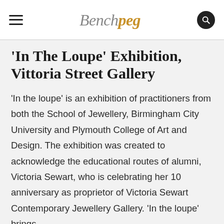Benchpeg
'In The Loupe' Exhibition, Vittoria Street Gallery
'In the loupe' is an exhibition of practitioners from both the School of Jewellery, Birmingham City University and Plymouth College of Art and Design. The exhibition was created to acknowledge the educational routes of alumni, Victoria Sewart, who is celebrating her 10 anniversary as proprietor of Victoria Sewart Contemporary Jewellery Gallery. 'In the loupe' brings